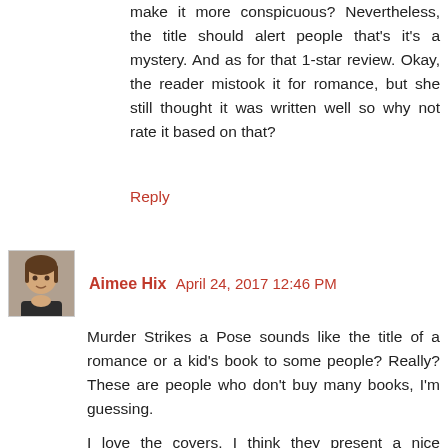make it more conspicuous? Nevertheless, the title should alert people that's it's a mystery. And as for that 1-star review. Okay, the reader mistook it for romance, but she still thought it was written well so why not rate it based on that?
Reply
Aimee Hix  April 24, 2017 12:46 PM
Murder Strikes a Pose sounds like the title of a romance or a kid's book to some people? Really? These are people who don't buy many books, I'm guessing.
I love the covers. I think they present a nice lightness showcasing the relationship between Kate and Bella. And they're a little different than other cozy covers but they still show the story skews closer to cozy/traditional than thriller or suspense and isn't that part of a cover's job?
I do judge books by their covers and after going through the cover development process recently myself, I have much more an appreciation for the people behind the scenes who